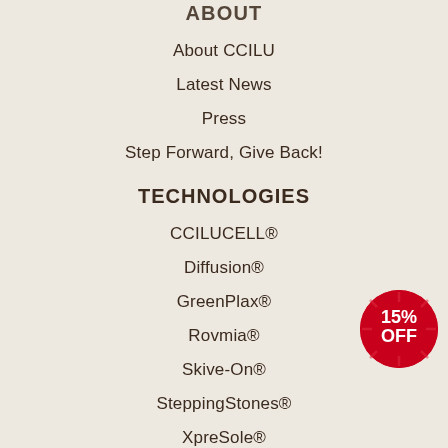ABOUT
About CCILU
Latest News
Press
Step Forward, Give Back!
TECHNOLOGIES
CCILUCELL®
Diffusion®
GreenPlax®
Rovmia®
Skive-On®
SteppingStones®
XpreSole®
[Figure (infographic): Red circular badge with '15% OFF' text in white]
COLLECTIONS